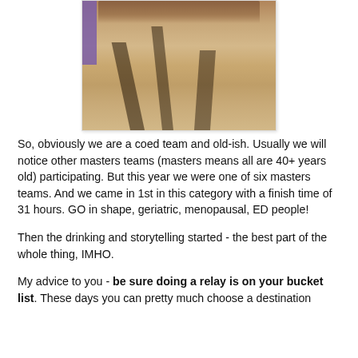[Figure (photo): Photo of people (feet/legs visible) standing on sandy ground with long shadows cast on the sand. A purple banner is visible on the left edge.]
So, obviously we are a coed team and old-ish. Usually we will notice other masters teams (masters means all are 40+ years old) participating. But this year we were one of six masters teams. And we came in 1st in this category with a finish time of 31 hours. GO in shape, geriatric, menopausal, ED people!
Then the drinking and storytelling started - the best part of the whole thing, IMHO.
My advice to you - be sure doing a relay is on your bucket list. These days you can pretty much choose a destination